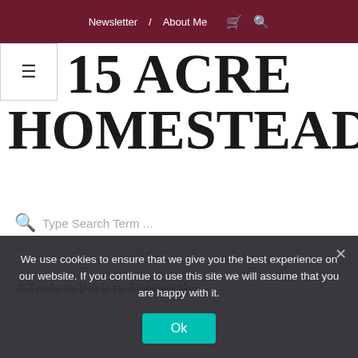Newsletter / About Me [cart icon] [search icon]
15 ACRE HOMESTEAD
Type Search Term ...
Contact [cart icon] [search icon]
8 Tools to Pack to Survive the
We use cookies to ensure that we give you the best experience on our website. If you continue to use this site we will assume that you are happy with it. Ok